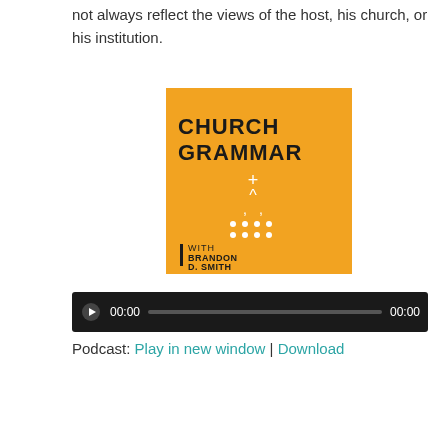not always reflect the views of the host, his church, or his institution.
[Figure (logo): Church Grammar podcast cover art — yellow/orange background with bold text 'CHURCH GRAMMAR' at top, decorative punctuation marks arranged in a triangular pattern in white, and 'WITH BRANDON D. SMITH' text at bottom left with a vertical bar accent.]
[Figure (other): Audio player widget with dark background, play button, time display showing 00:00, progress bar, and end time 00:00.]
Podcast: Play in new window | Download